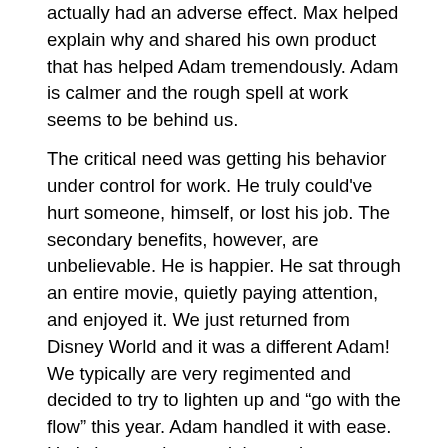actually had an adverse effect. Max helped explain why and shared his own product that has helped Adam tremendously. Adam is calmer and the rough spell at work seems to be behind us.
The critical need was getting his behavior under control for work. He truly could've hurt someone, himself, or lost his job. The secondary benefits, however, are unbelievable. He is happier. He sat through an entire movie, quietly paying attention, and enjoyed it. We just returned from Disney World and it was a different Adam! We typically are very regimented and decided to try to lighten up and “go with the flow” this year. Adam handled it with ease. He is less anxious and that makes our entire household more pleasant.